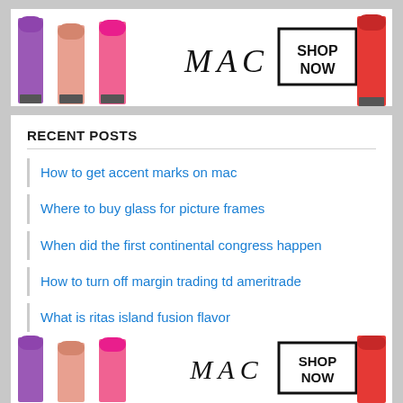[Figure (advertisement): MAC Cosmetics advertisement banner showing colorful lipsticks on the left, MAC logo in the center, SHOP NOW button in a box, and a red lipstick on the right]
RECENT POSTS
How to get accent marks on mac
Where to buy glass for picture frames
When did the first continental congress happen
How to turn off margin trading td ameritrade
What is ritas island fusion flavor
[Figure (advertisement): MAC Cosmetics advertisement banner (duplicate of top banner) showing colorful lipsticks on the left, MAC logo in the center, SHOP NOW button in a box, and a red lipstick on the right]